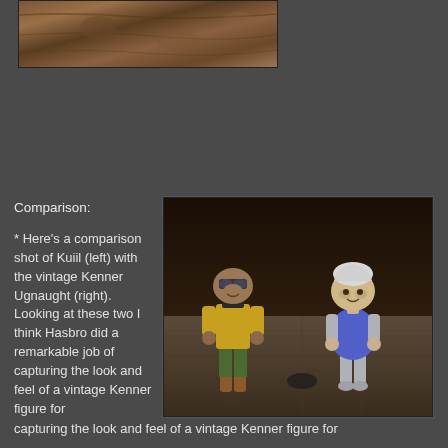[Figure (photo): Close-up photo of a textured brown/tan surface, partially cropped at top of page]
[Figure (photo): Comparison photo of two action figures: Kuiil figure (left, wearing yellow/green outfit with goggles) and vintage Kenner Ugnaught figure (right, wearing blue apron), standing on a stone-patterned surface with dark wood background]
Comparison:
* Here's a comparison shot of Kuiil (left) with the vintage Kenner Ugnaught (right). Looking at these two I think Hasbro did a remarkable job of capturing the look and feel of a vintage Kenner figure for